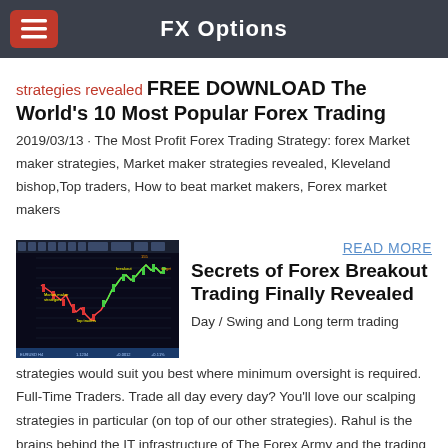FX Options
strategies revealed  FREE DOWNLOAD The World's 10 Most Popular Forex Trading
2019/03/13 · The Most Profit Forex Trading Strategy: forex Market maker strategies, Market maker strategies revealed, Kleveland bishop,Top traders, How to beat market makers, Forex market makers
READ MORE
[Figure (screenshot): Forex trading chart screenshot showing candlestick chart with price movement]
Secrets of Forex Breakout Trading Finally Revealed
Day / Swing and Long term trading strategies would suit you best where minimum oversight is required. Full-Time Traders. Trade all day every day? You'll love our scalping strategies in particular (on top of our other strategies). Rahul is the brains behind the IT infrastructure of The Forex Army and the trading systems that we've built.